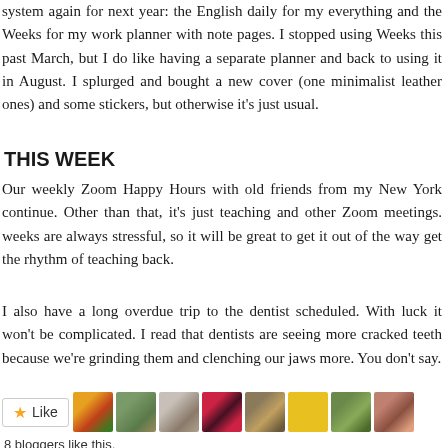system again for next year: the English daily for my everything and the Weeks for my work planner with note pages. I stopped using Weeks this past March, but I do like having a separate planner and back to using it in August. I splurged and bought a new cover (one minimalist leather ones) and some stickers, but otherwise it's usual.
THIS WEEK
Our weekly Zoom Happy Hours with old friends from my New York continue. Other than that, it's just teaching and other Zoom meetings. weeks are always stressful, so it will be great to get it out of the way and get the rhythm of teaching back.
I also have a long overdue trip to the dentist scheduled. With luck it won't be complicated. I read that dentists are seeing more cracked teeth because we're grinding them and clenching our jaws more. You don't say.
[Figure (other): Like button with star icon and 8 blogger avatars]
8 bloggers like this.